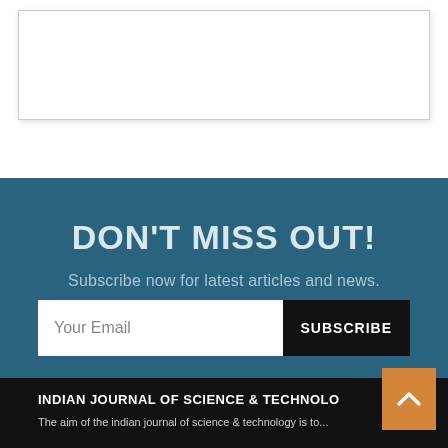[Figure (other): White card/box element at top of page, partially visible]
DON'T MISS OUT!
Subscribe now for latest articles and news.
Your Email  SUBSCRIBE
INDIAN JOURNAL OF SCIENCE & TECHNOLOGY
The aim of the indian journal of science & technology is to...